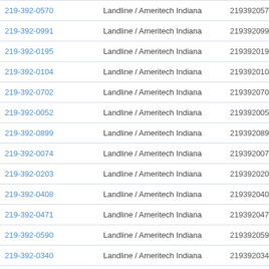| Phone | Type | Number | Action |
| --- | --- | --- | --- |
| 219-392-0570 | Landline / Ameritech Indiana | 2193920570 | View R |
| 219-392-0991 | Landline / Ameritech Indiana | 2193920991 | View R |
| 219-392-0195 | Landline / Ameritech Indiana | 2193920195 | View R |
| 219-392-0104 | Landline / Ameritech Indiana | 2193920104 | View R |
| 219-392-0702 | Landline / Ameritech Indiana | 2193920702 | View R |
| 219-392-0052 | Landline / Ameritech Indiana | 2193920052 | View R |
| 219-392-0899 | Landline / Ameritech Indiana | 2193920899 | View R |
| 219-392-0074 | Landline / Ameritech Indiana | 2193920074 | View R |
| 219-392-0203 | Landline / Ameritech Indiana | 2193920203 | View R |
| 219-392-0408 | Landline / Ameritech Indiana | 2193920408 | View R |
| 219-392-0471 | Landline / Ameritech Indiana | 2193920471 | View R |
| 219-392-0590 | Landline / Ameritech Indiana | 2193920590 | View R |
| 219-392-0340 | Landline / Ameritech Indiana | 2193920340 | View R |
| 219-392-0525 | Landline / Ameritech Indiana | 2193920525 | View R |
| 219-392-0591 | Landline / Ameritech Indiana | 2193920591 | ▲ R |
| 219-392-0263 | Landline / Ameritech Indiana | 2193920263 | .iew R |
| 219-392-0970 | Landline / Ameritech Indiana | 2193920970 | View R |
| 219-392-0441 | Landline / Ameritech Indiana | 2193920441 | View R |